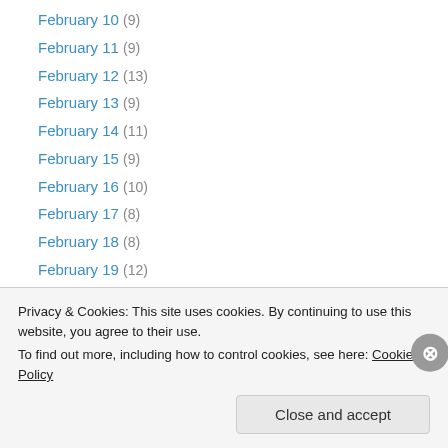February 10 (9)
February 11 (9)
February 12 (13)
February 13 (9)
February 14 (11)
February 15 (9)
February 16 (10)
February 17 (8)
February 18 (8)
February 19 (12)
February 2 (10)
February 20 (10)
February 21 (8)
Privacy & Cookies: This site uses cookies. By continuing to use this website, you agree to their use.
To find out more, including how to control cookies, see here: Cookie Policy